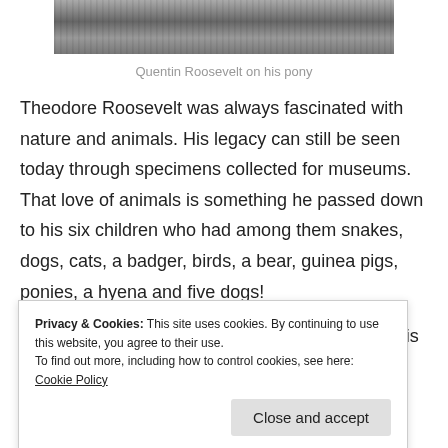[Figure (photo): Black and white photo of Quentin Roosevelt on his pony, cropped at top]
Quentin Roosevelt on his pony
Theodore Roosevelt was always fascinated with nature and animals. His legacy can still be seen today through specimens collected for museums. That love of animals is something he passed down to his six children who had among them snakes, dogs, cats, a badger, birds, a bear, guinea pigs, ponies, a hyena and five dogs!
When Roosevelt's son Archie got the measles, his
Privacy & Cookies: This site uses cookies. By continuing to use this website, you agree to their use.
To find out more, including how to control cookies, see here: Cookie Policy
Close and accept
he scolded Quentin. But Quentin's animal adventures